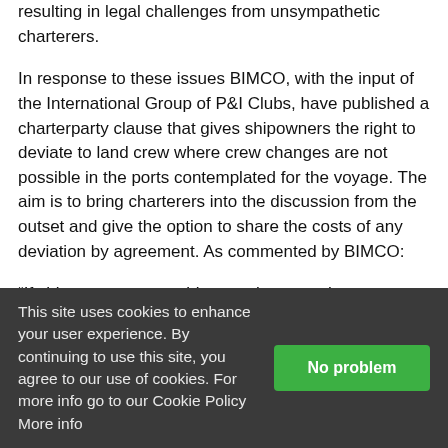resulting in legal challenges from unsympathetic charterers.
In response to these issues BIMCO, with the input of the International Group of P&I Clubs, have published a charterparty clause that gives shipowners the right to deviate to land crew where crew changes are not possible in the ports contemplated for the voyage. The aim is to bring charterers into the discussion from the outset and give the option to share the costs of any deviation by agreement. As commented by BIMCO:
“If shipowners are unable to make crew changes at the ports where the ship visits, then they should not be penalised
This site uses cookies to enhance your user experience. By continuing to use this site, you agree to our use of cookies. For more info go to our Cookie Policy More info